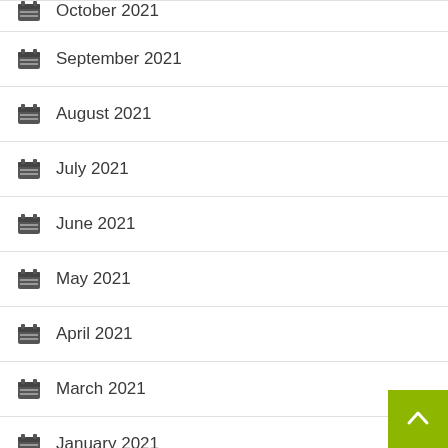October 2021
September 2021
August 2021
July 2021
June 2021
May 2021
April 2021
March 2021
January 2021
December 2020
October 2020
September 2020
June 2020
April 2020